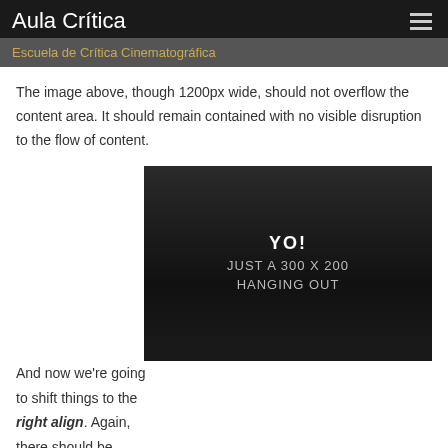Aula Crítica — Escuela de Crítica Cinematográfica
The image above, though 1200px wide, should not overflow the content area. It should remain contained with no visible disruption to the flow of content.
And now we're going to shift things to the right align. Again, there should be plenty of room above, below, and to the left of the image. Just look at him there... Hey guy! Way to rock that right side. I don't care what the left aligned image says, you look
[Figure (illustration): Dark background image placeholder with text 'YO! JUST A 300 X 200 HANGING OUT']